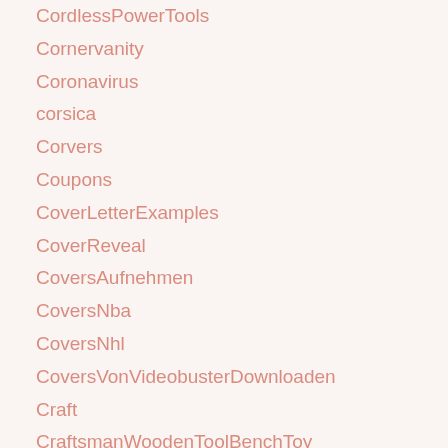CordlessPowerTools
Cornervanity
Coronavirus
corsica
Corvers
Coupons
CoverLetterExamples
CoverReveal
CoversAufnehmen
CoversNba
CoversNhl
CoversVonVideobusterDownloaden
Craft
CraftsmanWoodenToolBenchToy
craftstudios